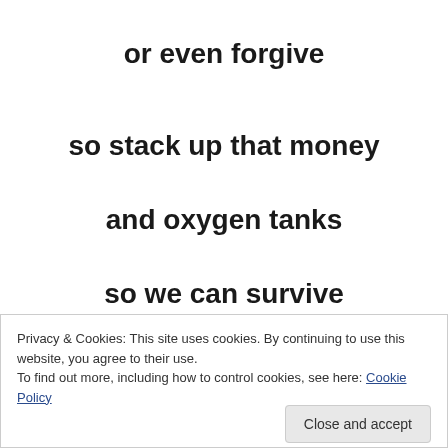or even forgive
so stack up that money
and oxygen tanks
so we can survive
as others all die
Privacy & Cookies: This site uses cookies. By continuing to use this website, you agree to their use.
To find out more, including how to control cookies, see here: Cookie Policy
Close and accept